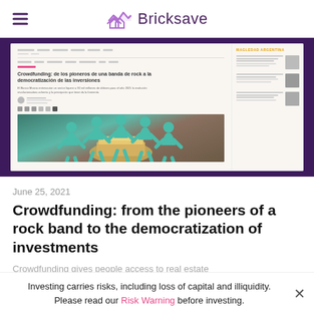Bricksave
[Figure (screenshot): Screenshot of a Spanish-language article titled 'Crowdfunding: de los pioneros de una banda de rock a la democratización de las inversiones' with an image of paper cutout people figures surrounding a pile of cash]
June 25, 2021
Crowdfunding: from the pioneers of a rock band to the democratization of investments
Crowdfunding gives people access to real estate these types
Investing carries risks, including loss of capital and illiquidity. Please read our Risk Warning before investing.